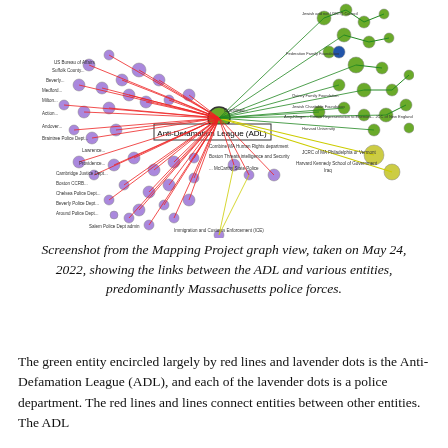[Figure (network-graph): Screenshot from the Mapping Project graph view showing a network diagram with colored nodes and connecting lines. A central green node labeled 'Anti-Defamation League (ADL)' is connected by many red lines to lavender/purple nodes (police departments) scattered around it, and by green, yellow, and other colored lines to green nodes in the upper right area representing other organizations. A yellow node appears in the right-center area.]
Screenshot from the Mapping Project graph view, taken on May 24, 2022, showing the links between the ADL and various entities, predominantly Massachusetts police forces.
The green entity encircled largely by red lines and lavender dots is the Anti-Defamation League (ADL), and each of the lavender dots is a police department. The red lines and lines connect entities between other entities. The ADL